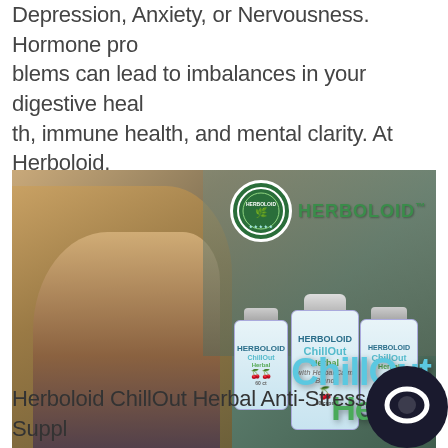Depression, Anxiety, or Nervousness. Hormone problems can lead to imbalances in your digestive health, immune health, and mental clarity. At Herboloid, we want you to have a better quality of life, sleep deeper, worry less, and exceed your goals.
[Figure (photo): Photo of a young man sitting outdoors relaxing in sunlight, with Herboloid logo and ChillOut Herbal supplement bottles overlaid, and 'ChillOut Herbal' text in teal and green]
Herboloid ChillOut Herbal Anti-Stress Supplement helps Calm mood swings with Chamomile, which has been used for centuries to calm nerves. Anxiety, S